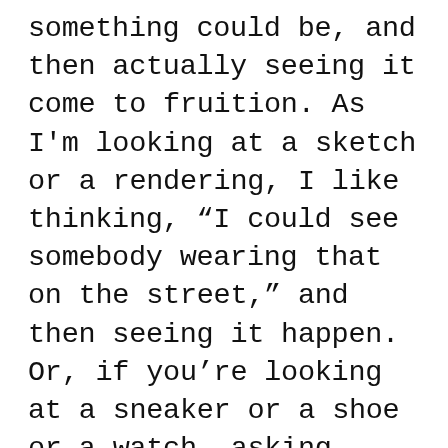something could be, and then actually seeing it come to fruition. As I'm looking at a sketch or a rendering, I like thinking, “I could see somebody wearing that on the street,” and then seeing it happen. Or, if you’re looking at a sneaker or a shoe or a watch, asking yourself, “How could we make that new and fresh and different? How can you take that existing item that everybody wears and give it a twist? How could you reinvent it so it sparks a new trend or idea that could blossom into other products?” When that happens, it’s very satisfying.